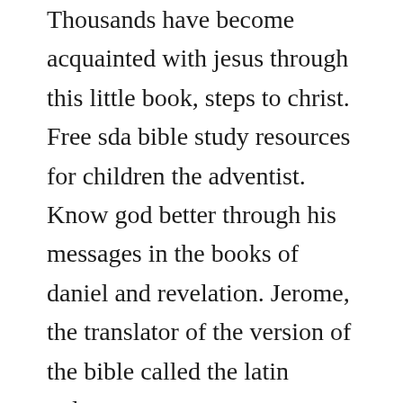Thousands have become acquainted with jesus through this little book, steps to christ. Free sda bible study resources for children the adventist. Know god better through his messages in the books of daniel and revelation. Jerome, the translator of the version of the bible called the latin vulgate.
This bible reading plan leads you through the entire. List seven points showing the power of correct posture. A contemporary adaptation named messiah has been authored by jerry d. It is included in the larger freeonline bookscollection on the ellen g. When it comes